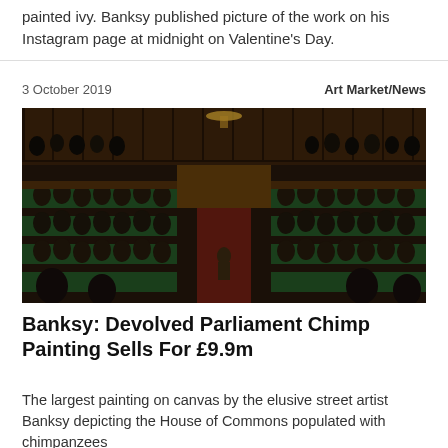painted ivy. Banksy published picture of the work on his Instagram page at midnight on Valentine's Day.
3 October 2019    Art Market/News
[Figure (photo): Banksy's Devolved Parliament painting showing the House of Commons filled with chimpanzees, painted in realistic oil style with dark wooden parliamentary interior.]
Banksy: Devolved Parliament Chimp Painting Sells For £9.9m
The largest painting on canvas by the elusive street artist Banksy depicting the House of Commons populated with chimpanzees